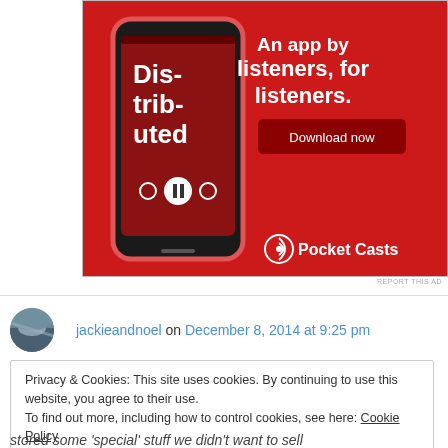[Figure (photo): Advertisement for Pocket Casts app on red background showing a smartphone with the app open displaying 'Distributed' podcast. Text reads 'An app by listeners, for listeners.' with a 'Download now' button and Pocket Casts logo.]
REPORT THIS AD
jackieandnoel on December 8, 2014 at 9:25 pm
Privacy & Cookies: This site uses cookies. By continuing to use this website, you agree to their use.
To find out more, including how to control cookies, see here: Cookie Policy
Close and accept
stored some 'special' stuff we didn't want to sell